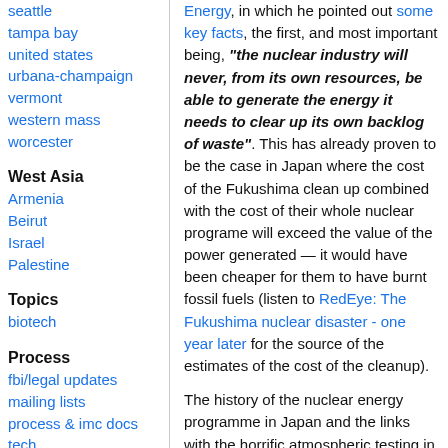seattle
tampa bay
united states
urbana-champaign
vermont
western mass
worcester
West Asia
Armenia
Beirut
Israel
Palestine
Topics
biotech
Process
fbi/legal updates
mailing lists
process & imc docs
tech
Energy, in which he pointed out some key facts, the first, and most important being, "the nuclear industry will never, from its own resources, be able to generate the energy it needs to clear up its own backlog of waste". This has already proven to be the case in Japan where the cost of the Fukushima clean up combined with the cost of their whole nuclear programe will exceed the value of the power generated — it would have been cheaper for them to have burnt fossil fuels (listen to RedEye: The Fukushima nuclear disaster - one year later for the source of the estimates of the cost of the cleanup).
The history of the nuclear energy programme in Japan and the links with the horrific atmospheric testing in the Marshall Islands and the nukes dropped by the US at the end of WW2 to start the cold war are discussed in a talk titled From Nuclear Weapons to Nuclear Energy: The U.S., The Marshall Islands, and Japan.